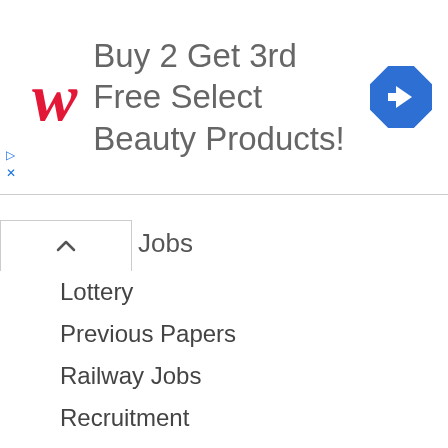[Figure (infographic): Walgreens advertisement banner: red cursive W logo, text 'Buy 2 Get 3rd Free Select Beauty Products!', blue diamond navigation icon on right]
Jobs
Lottery
Previous Papers
Railway Jobs
Recruitment
Results
Resumes
syallabus
Syllabus
Tax
Technology
Travel